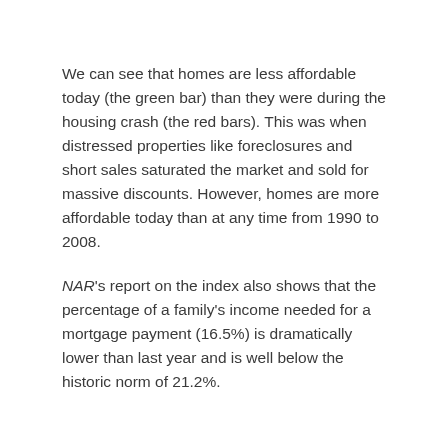We can see that homes are less affordable today (the green bar) than they were during the housing crash (the red bars). This was when distressed properties like foreclosures and short sales saturated the market and sold for massive discounts. However, homes are more affordable today than at any time from 1990 to 2008.
NAR's report on the index also shows that the percentage of a family's income needed for a mortgage payment (16.5%) is dramatically lower than last year and is well below the historic norm of 21.2%.